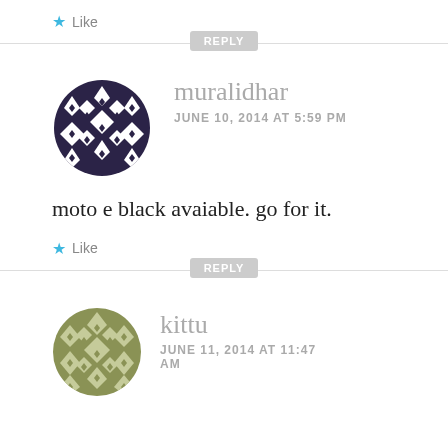★ Like
REPLY
muralidhar
JUNE 10, 2014 AT 5:59 PM
moto e black avaiable. go for it.
★ Like
REPLY
kittu
JUNE 11, 2014 AT 11:47
AM